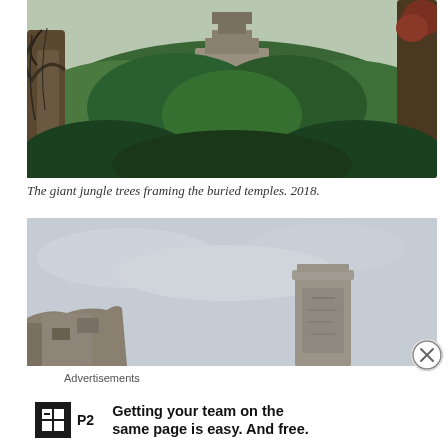[Figure (photo): A jungle scene with tall trees in the foreground and a Mayan pyramid temple visible rising above the dense green canopy in the background. Photo taken in 2018.]
The giant jungle trees framing the buried temples. 2018.
[Figure (photo): Ruins of a Mayan stone structure or stele visible against an overcast sky, with rocky rubble at lower left and a tall narrow stone column at center-right.]
Advertisements
Getting your team on the same page is easy. And free.